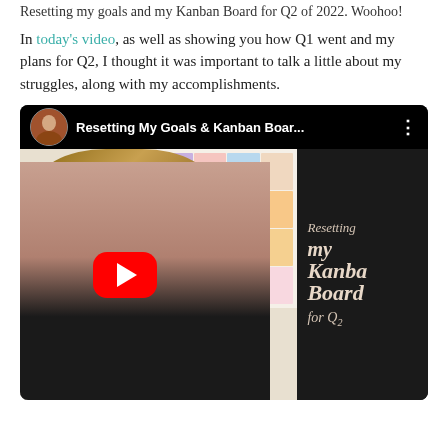Resetting my goals and my Kanban Board for Q2 of 2022. Woohoo!
In today's video, as well as showing you how Q1 went and my plans for Q2, I thought it was important to talk a little about my struggles, along with my accomplishments.
[Figure (screenshot): YouTube video thumbnail showing a woman smiling with a Kanban board in the background, titled 'Resetting My Goals & Kanban Boar...' with a red play button. Right side shows black background with cursive text 'Resetting my Kanban Board for Q2']